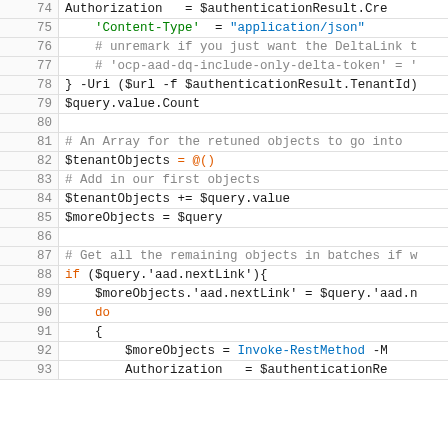Code listing showing PowerShell script lines 74-93
| Line | Code |
| --- | --- |
| 74 | Authorization  = $authenticationResult.Cre |
| 75 |     'Content-Type'  = "application/json" |
| 76 |     # unremark if you just want the DeltaLink t |
| 77 |     # 'ocp-aad-dq-include-only-delta-token' = ' |
| 78 | } -Uri ($url -f $authenticationResult.TenantId) |
| 79 | $query.value.Count |
| 80 |  |
| 81 | # An Array for the retuned objects to go into |
| 82 | $tenantObjects = @() |
| 83 | # Add in our first objects |
| 84 | $tenantObjects += $query.value |
| 85 | $moreObjects = $query |
| 86 |  |
| 87 | # Get all the remaining objects in batches if w |
| 88 | if ($query.'aad.nextLink'){ |
| 89 |     $moreObjects.'aad.nextLink' = $query.'aad.n |
| 90 |     do |
| 91 |     { |
| 92 |         $moreObjects = Invoke-RestMethod -M |
| 93 |         Authorization   = $authenticationRe |